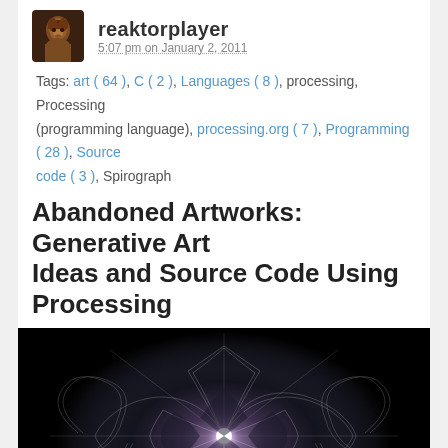reaktorplayer 5:07 pm on January 2, 2011
Tags: art ( 64 ), C ( 2 ), Languages ( 8 ), processing, Processing (programming language), processing.org ( 7 ), Programming ( 28 ), Source code ( 3 ), Spirograph
Abandoned Artworks: Generative Art Ideas and Source Code Using Processing
[Figure (illustration): Generative art image on black background showing a symmetric spirograph-like pattern with flowing white lines forming a flower/mandala shape with a bright glowing center]